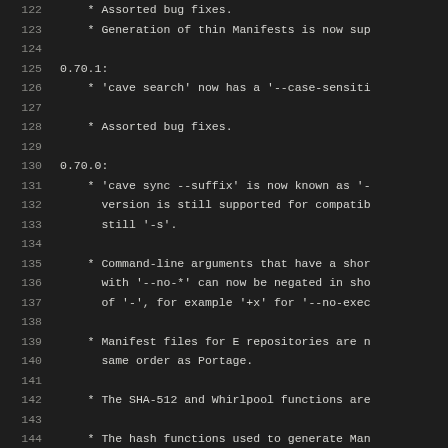Code viewer showing changelog lines 122-149 with version sections 0.70.1, 0.70.0, 0.68.0